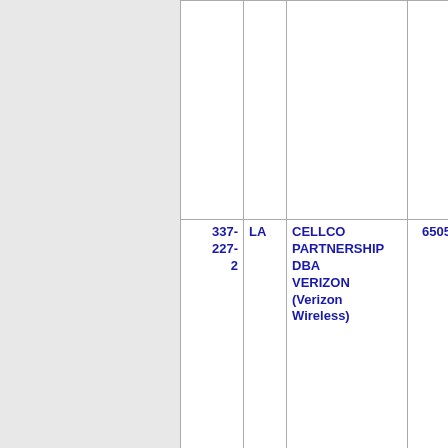| Number | ST | Name | ZIP | ... |
| --- | --- | --- | --- | --- |
| 337-227-2 | LA | CELLCO PARTNERSHIP DBA VERIZON (Verizon Wireless) | 6505 | CHUR... |
| 337-227-3 | LA | CELLCO PARTNERSHIP DBA VERIZON (Verizon Wireless) | 6505 | CHUR... |